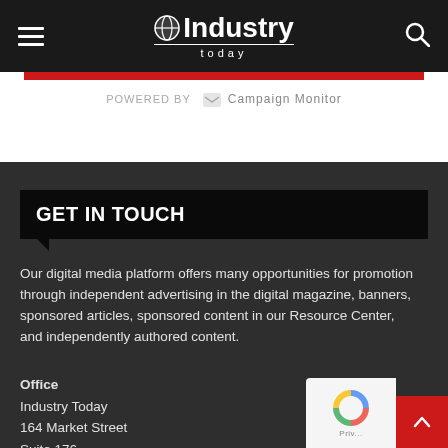Industry Today
POWERED BY Campaign Monitor
GET IN TOUCH
Our digital media platform offers many opportunities for promotion through independent advertising in the digital magazine, banners, sponsored articles, sponsored content in our Resource Center, and independently authored content.
Office
Industry Today
164 Market Street
Suite 176
Charleston, SC 29401